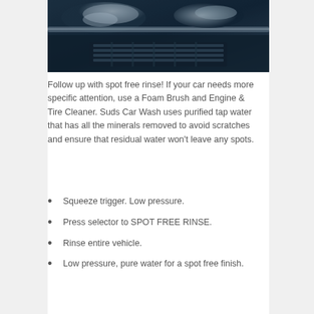[Figure (photo): Close-up photo of a car's front grille and chrome headlight area, tinted with a dark blue-grey tone]
Follow up with spot free rinse! If your car needs more specific attention, use a Foam Brush and Engine & Tire Cleaner. Suds Car Wash uses purified tap water that has all the minerals removed to avoid scratches and ensure that residual water won't leave any spots.
Squeeze trigger. Low pressure.
Press selector to SPOT FREE RINSE.
Rinse entire vehicle.
Low pressure, pure water for a spot free finish.